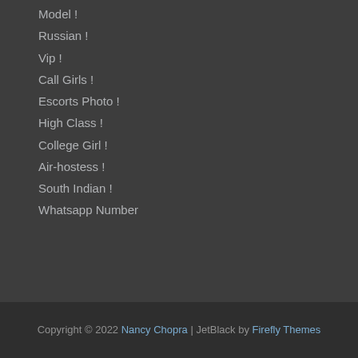Model !
Russian !
Vip !
Call Girls !
Escorts Photo !
High Class !
College Girl !
Air-hostess !
South Indian !
Whatsapp Number
Copyright © 2022 Nancy Chopra | JetBlack by Firefly Themes